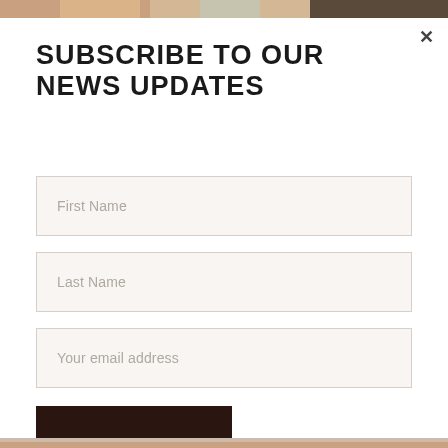[Figure (photo): Top decorative image strip showing partial colorful background]
SUBSCRIBE TO OUR NEWS UPDATES
First Name
Last Name
Your email address
SIGN UP
[Figure (photo): Bottom decorative image strip]